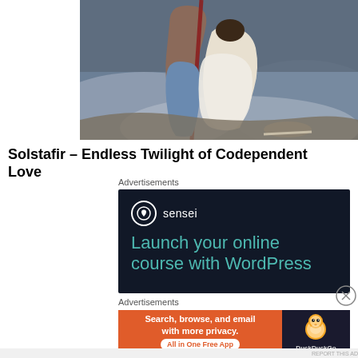[Figure (illustration): A classical painting depicting two figures — a robed person holding a staff and another draped figure — set against a stormy sky background. Appears to be a romantic or mythological painting.]
Solstafir – Endless Twilight of Codependent Love
Advertisements
[Figure (screenshot): Sensei advertisement with dark background. Shows Sensei logo (white circle with tree icon) and text 'Launch your online course with WordPress' in teal color.]
[Figure (screenshot): DuckDuckGo advertisement: orange left section with text 'Search, browse, and email with more privacy. All in One Free App' and dark right section with DuckDuckGo duck logo.]
Advertisements